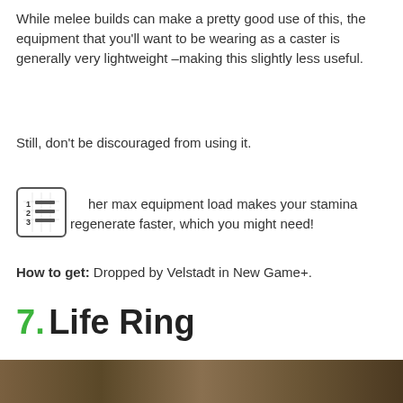While melee builds can make a pretty good use of this, the equipment that you'll want to be wearing as a caster is generally very lightweight –making this slightly less useful.
Still, don't be discouraged from using it.
Higher max equipment load makes your stamina regenerate faster, which you might need!
How to get: Dropped by Velstadt in New Game+.
7. Life Ring
[Figure (photo): Bottom portion of a photo showing a game scene, partially cropped]